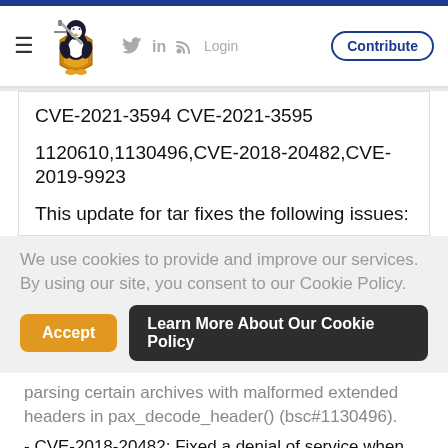[Figure (logo): Linux security website logo — penguin with sword and shield, blue and gold colors]
CVE-2021-3594 CVE-2021-3595
1120610,1130496,CVE-2018-20482,CVE-2019-9923
This update for tar fixes the following issues:
We use cookies to provide and improve our services. By using our site, you consent to our Cookie Policy.
parsing certain archives with malformed extended headers in pax_decode_header() (bsc#1130496).
- CVE-2018-20482: Fixed a denial of service when the